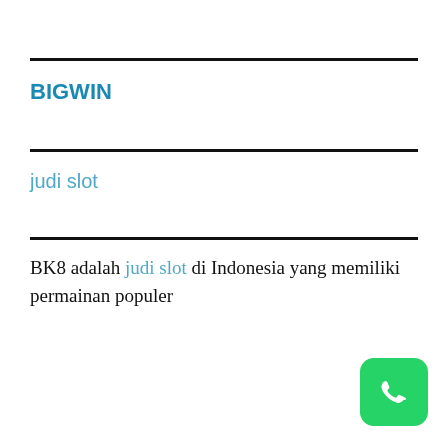BIGWIN
judi slot
BK8 adalah judi slot di Indonesia yang memiliki permainan populer
[Figure (logo): WhatsApp logo icon, green rounded square with white phone handset]